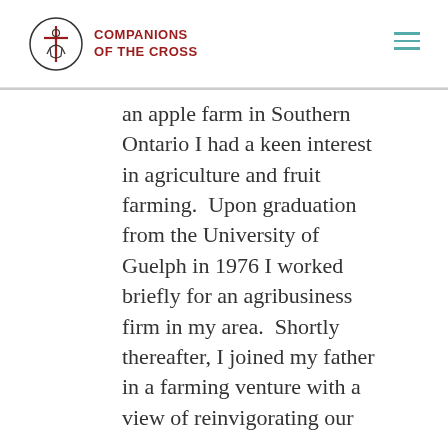Companions of the Cross
an apple farm in Southern Ontario I had a keen interest in agriculture and fruit farming.  Upon graduation from the University of Guelph in 1976 I worked briefly for an agribusiness firm in my area.  Shortly thereafter, I joined my father in a farming venture with a view of reinvigorating our